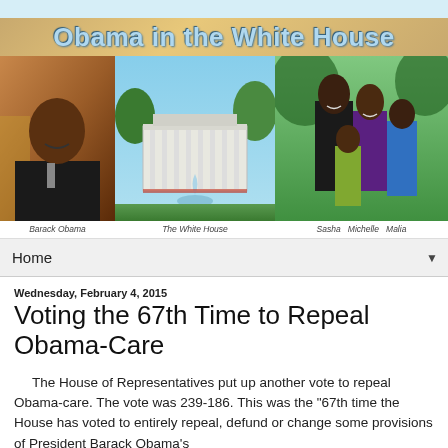[Figure (photo): Blog header banner reading 'Obama in the White House' with photos of Barack Obama portrait, the White House, and the Obama family (Sasha, Michelle, Malia)]
Barack Obama    The White House    Sasha  Michelle  Malia
Home
Wednesday, February 4, 2015
Voting the 67th Time to Repeal Obama-Care
The House of Representatives put up another vote to repeal Obama-care. The vote was 239-186. This was the "67th time the House has voted to entirely repeal, defund or change some provisions of President Barack Obama's